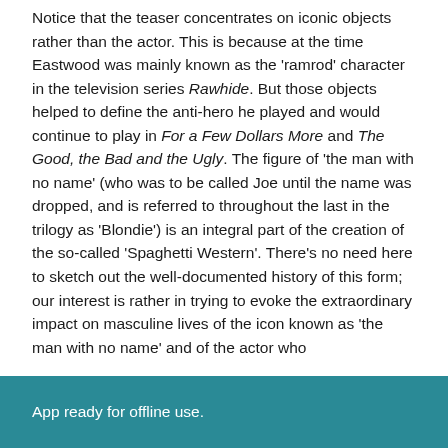Notice that the teaser concentrates on iconic objects rather than the actor. This is because at the time Eastwood was mainly known as the 'ramrod' character in the television series Rawhide. But those objects helped to define the anti-hero he played and would continue to play in For a Few Dollars More and The Good, the Bad and the Ugly. The figure of 'the man with no name' (who was to be called Joe until the name was dropped, and is referred to throughout the last in the trilogy as 'Blondie') is an integral part of the creation of the so-called 'Spaghetti Western'. There's no need here to sketch out the well-documented history of this form; our interest is rather in trying to evoke the extraordinary impact on masculine lives of the icon known as 'the man with no name' and of the actor who
App ready for offline use.